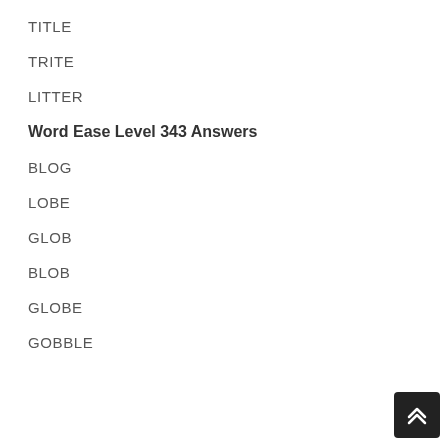TITLE
TRITE
LITTER
Word Ease Level 343 Answers
BLOG
LOBE
GLOB
BLOB
GLOBE
GOBBLE